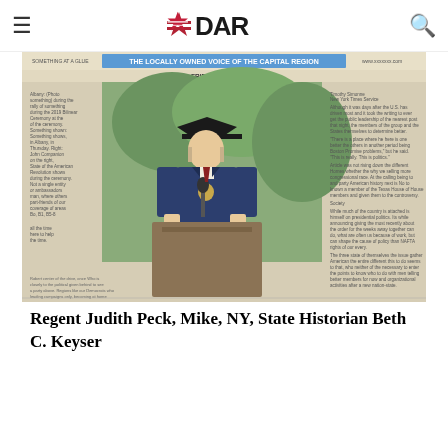DAR
[Figure (photo): A scanned newspaper clipping showing a man in colonial-era costume (tricorn hat, period jacket) speaking at a podium or lectern. The newspaper header reads 'THE LOCALLY OWNED VOICE OF THE CAPITAL REGION' and 'FRIDAY, JULY 5, 2019'. Text columns appear on the left and right sides of the central photo.]
Regent Judith Peck, Mike, NY, State Historian Beth C. Keyser